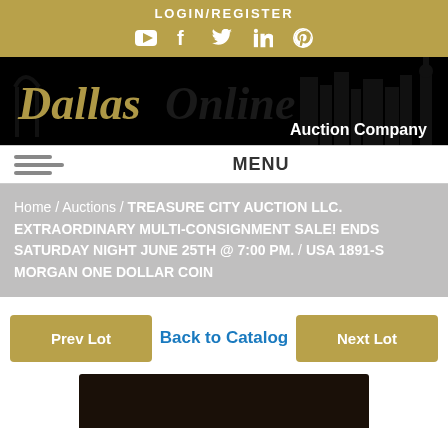LOGIN/REGISTER
[Figure (screenshot): Social media icons: YouTube, Facebook, Twitter, LinkedIn, Pinterest]
[Figure (logo): Dallas Online Auction Company logo with city skyline silhouette]
MENU
Home / Auctions / TREASURE CITY AUCTION LLC. EXTRAORDINARY MULTI-CONSIGNMENT SALE! ENDS SATURDAY NIGHT JUNE 25TH @ 7:00 PM. / USA 1891-S MORGAN ONE DOLLAR COIN
Prev Lot
Back to Catalog
Next Lot
[Figure (photo): Dark preview of coin image at bottom of page]